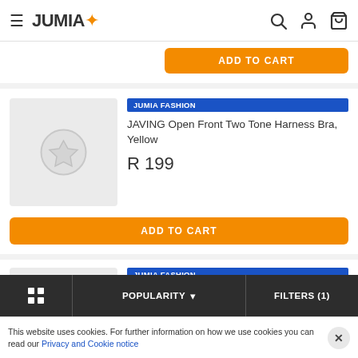JUMIA
[Figure (screenshot): Partial product card with orange ADD TO CART button at top]
[Figure (screenshot): Product listing: JAVING Open Front Two Tone Harness Bra, Yellow, R 199, with JUMIA FASHION badge and ADD TO CART button]
[Figure (screenshot): Partial product listing: JAVING Open Front Two Tone Harness Bra, Grey, with JUMIA FASHION badge]
POPULARITY   FILTERS (1)
This website uses cookies. For further information on how we use cookies you can read our Privacy and Cookie notice